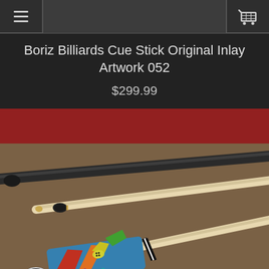Navigation bar with hamburger menu, search field, and cart icon
Boriz Billiards Cue Stick Original Inlay Artwork 052
$299.99
[Figure (photo): Two billiard cue sticks lying on a brown textured surface. The top cue is dark/black. The middle cue has a light maple shaft with a black and gold joint. The bottom cue features a colorful inlay artwork butt with blue, red, yellow, green geometric patterns.]